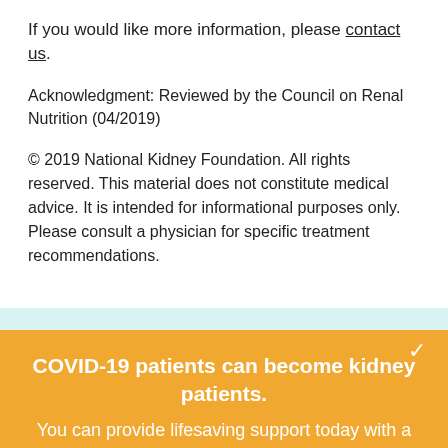If you would like more information, please contact us.
Acknowledgment: Reviewed by the Council on Renal Nutrition (04/2019)
© 2019 National Kidney Foundation. All rights reserved. This material does not constitute medical advice. It is intended for informational purposes only. Please consult a physician for specific treatment recommendations.
COVID-19 patients can become kidney patients. You can provide lifesaving support today with a special monthly gift.
Donate Now